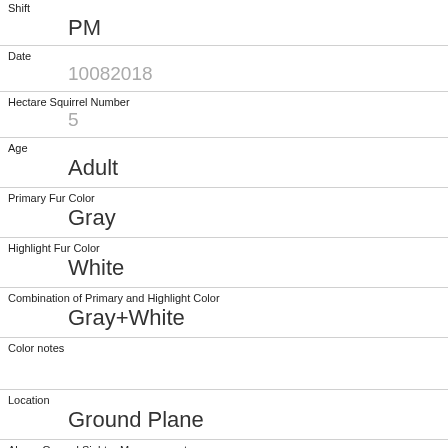Shift
PM
Date
10082018
Hectare Squirrel Number
5
Age
Adult
Primary Fur Color
Gray
Highlight Fur Color
White
Combination of Primary and Highlight Color
Gray+White
Color notes
Location
Ground Plane
Above Ground Sighter Measurement
FALSE
Specific Location